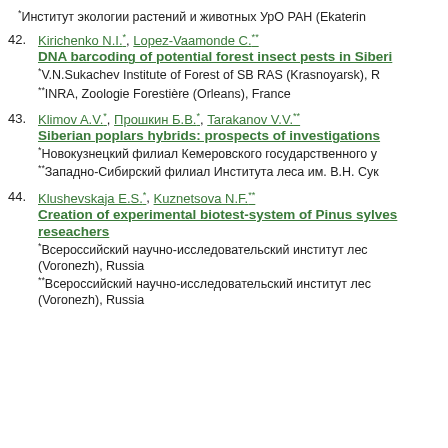* Институт экологии растений и животных УрО РАН (Ekaterinburg), Russia
42. Kirichenko N.I.*, Lopez-Vaamonde C.**
DNA barcoding of potential forest insect pests in Siberia
* V.N.Sukachev Institute of Forest of SB RAS (Krasnoyarsk), Russia
** INRA, Zoologie Forestière (Orleans), France
43. Klimov A.V.*, Прошкин Б.В.*, Tarakanov V.V.**
Siberian poplars hybrids: prospects of investigations
* Новокузнецкий филиал Кемеровского государственного у...
** Западно-Сибирский филиал Института леса им. В.Н. Сук...
44. Klushevskaja E.S.*, Kuznetsova N.F.**
Creation of experimental biotest-system of Pinus sylvestris reseachers
* Всероссийский научно-исследовательский институт лес... (Voronezh), Russia
** Всероссийский научно-исследовательский институт лес... (Voronezh), Russia